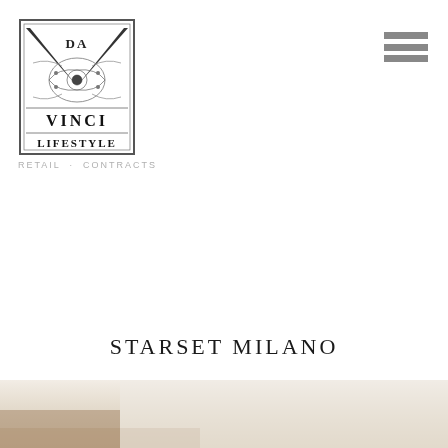[Figure (logo): Da Vinci Lifestyle logo — ornate rectangular badge with V shape and decorative engraving, text DA VINCI LIFESTYLE inside]
RETAIL · CONTRACTS
[Figure (other): Hamburger menu icon — three horizontal bars stacked]
STARSET MILANO
[Figure (photo): Bottom partial image showing a light-colored interior or product photograph with warm beige/brown tones]